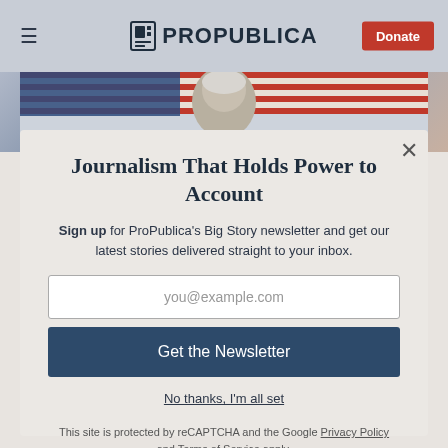ProPublica — Donate
[Figure (photo): Person in front of American flag, partially visible behind newsletter modal]
Journalism That Holds Power to Account
Sign up for ProPublica's Big Story newsletter and get our latest stories delivered straight to your inbox.
you@example.com
Get the Newsletter
No thanks, I'm all set
This site is protected by reCAPTCHA and the Google Privacy Policy and Terms of Service apply.